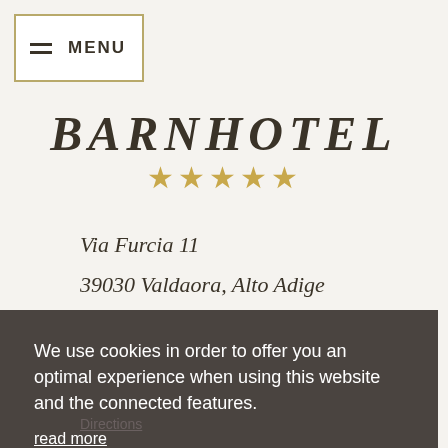MENU
BARNHOTEL
[Figure (other): Five gold stars indicating hotel rating]
Via Furcia 11
39030 Valdaora, Alto Adige
We use cookies in order to offer you an optimal experience when using this website and the connected features.
read more
Deny   Allow
Directions